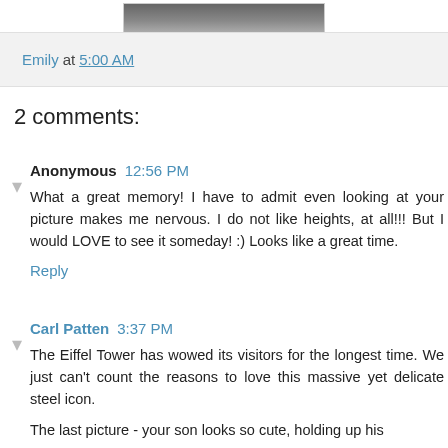[Figure (photo): Partial photo at top of page, cropped, showing top portion only]
Emily at 5:00 AM
2 comments:
Anonymous 12:56 PM
What a great memory! I have to admit even looking at your picture makes me nervous. I do not like heights, at all!!! But I would LOVE to see it someday! :) Looks like a great time.
Reply
Carl Patten 3:37 PM
The Eiffel Tower has wowed its visitors for the longest time. We just can't count the reasons to love this massive yet delicate steel icon.
The last picture - your son looks so cute, holding up his